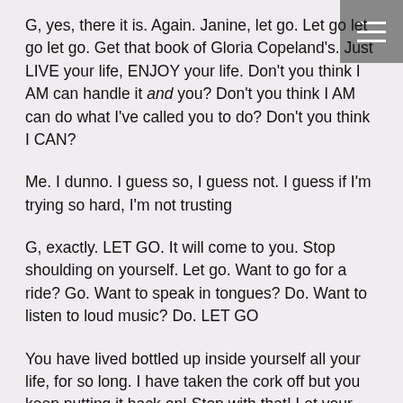G, yes, there it is. Again. Janine, let go. Let go let go let go. Get that book of Gloria Copeland's. Just LIVE your life, ENJOY your life. Don't you think I AM can handle it and you? Don't you think I AM can do what I've called you to do? Don't you think I CAN?
Me. I dunno. I guess so, I guess not. I guess if I'm trying so hard, I'm not trusting
G, exactly. LET GO. It will come to you. Stop shoulding on yourself. Let go. Want to go for a ride? Go. Want to speak in tongues? Do. Want to listen to loud music? Do. LET GO
You have lived bottled up inside yourself all your life, for so long. I have taken the cork off but you keep putting it back on! Stop with that! Let your essence out of the bottle, the